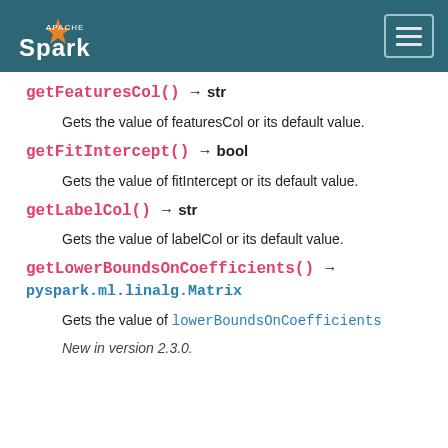Apache Spark
getFeaturesCol() → str
Gets the value of featuresCol or its default value.
getFitIntercept() → bool
Gets the value of fitIntercept or its default value.
getLabelCol() → str
Gets the value of labelCol or its default value.
getLowerBoundsOnCoefficients() → pyspark.ml.linalg.Matrix
Gets the value of lowerBoundsOnCoefficients
New in version 2.3.0.